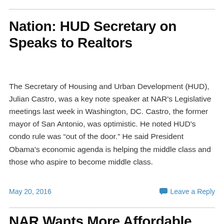Nation: HUD Secretary on Speaks to Realtors
The Secretary of Housing and Urban Development (HUD), Julian Castro, was a key note speaker at NAR's Legislative meetings last week in Washington, DC. Castro, the former mayor of San Antonio, was optimistic. He noted HUD's condo rule was “out of the door.” He said President Obama's economic agenda is helping the middle class and those who aspire to become middle class.
May 20, 2016
Leave a Reply
NAR Wants More Affordable